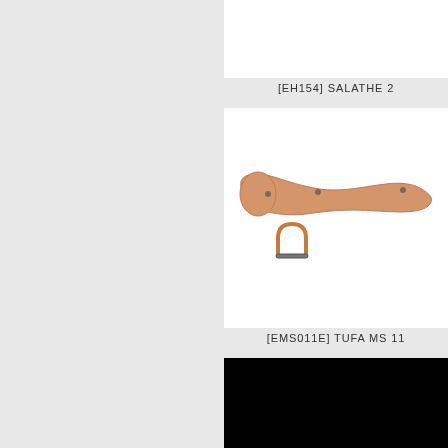[Figure (photo): White product display box for SALATHE 2 climbing hold, top right panel]
[EH154] SALATHE 2
[Figure (photo): White product display box showing TUFA MS 11 climbing hold - an elongated orange/tan paddle-shaped hold with small holes, and a small orange D-ring below it]
[EMS011E] TUFA MS 11
[Figure (photo): Black product display box, bottom right panel, content not visible]